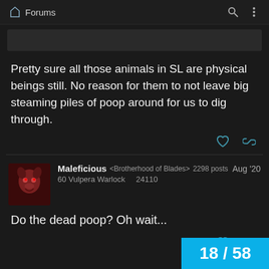Forums
Pretty sure all those animals in SL are physical beings still. No reason for them to not leave big steaming piles of poop around for us to dig through.
Maleficious <Brotherhood of Blades> 2298 posts Aug '20
60 Vulpera Warlock   24110
Do the dead poop? Oh wait...
18 / 58